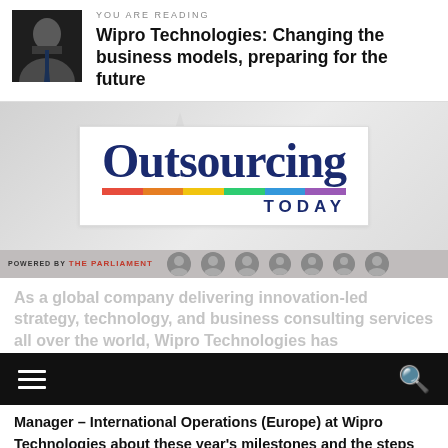YOU ARE READING
Wipro Technologies: Changing the business models, preparing for the future
[Figure (screenshot): Outsourcing Today magazine cover screenshot with logo, color bar, and thumbnail faces strip at bottom]
As a global company delivering innovation-led strategy, technology, and business consulting services all over the world, Wipro Technologies has
Manager – International Operations (Europe) at Wipro Technologies about these year's milestones and the steps that the overall industry must undertake in order to evolve in a sustainable and relevant manner.
Wipro Technologies started as a business process